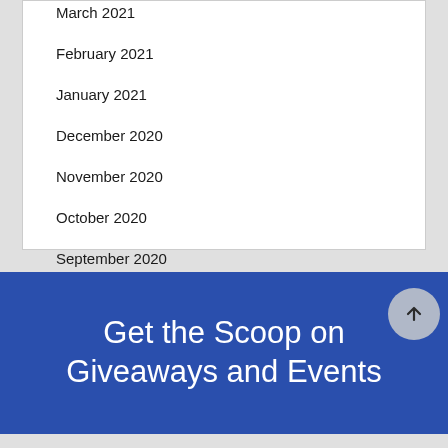March 2021
February 2021
January 2021
December 2020
November 2020
October 2020
September 2020
Show More
Get the Scoop on Giveaways and Events